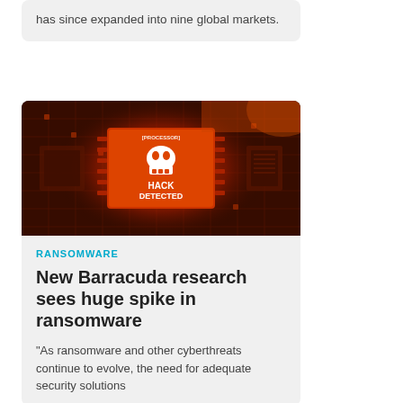has since expanded into nine global markets.
[Figure (photo): Close-up photo of a glowing red circuit board with a processor chip displaying a skull icon and the text 'HACK DETECTED', lit with dramatic red-orange lighting.]
RANSOMWARE
New Barracuda research sees huge spike in ransomware
"As ransomware and other cyberthreats continue to evolve, the need for adequate security solutions